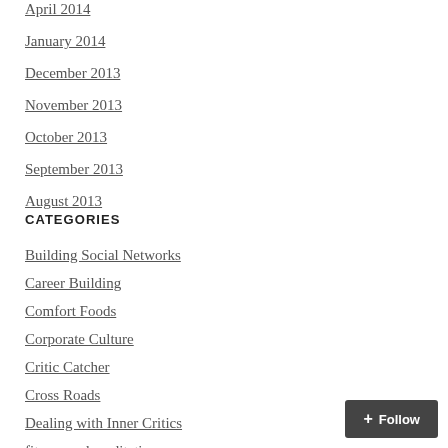April 2014
January 2014
December 2013
November 2013
October 2013
September 2013
August 2013
CATEGORIES
Building Social Networks
Career Building
Comfort Foods
Corporate Culture
Critic Catcher
Cross Roads
Dealing with Inner Critics
fitness and meditation